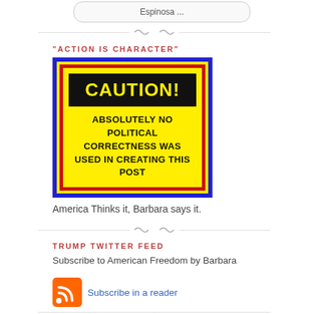[Figure (screenshot): Top widget showing 'Espinosa ...' text in a rounded rectangle]
"ACTION IS CHARACTER"
[Figure (illustration): Caution sign: yellow background with blue border and red inner border. Black box with 'CAUTION!' in yellow text. Below: 'ABSOLUTELY NO POLITICAL CORRECTNESS WAS USED IN CREATING THIS POST' in black bold text.]
America Thinks it, Barbara says it.
TRUMP TWITTER FEED
Subscribe to American Freedom by Barbara
[Figure (logo): RSS feed orange icon followed by 'Subscribe in a reader' link]
MY FACEBOOK PAGE
[Figure (photo): Facebook page photos strip: Arizona state shape with flag, woman portrait, Texas flag waving, field of bluebonnets]